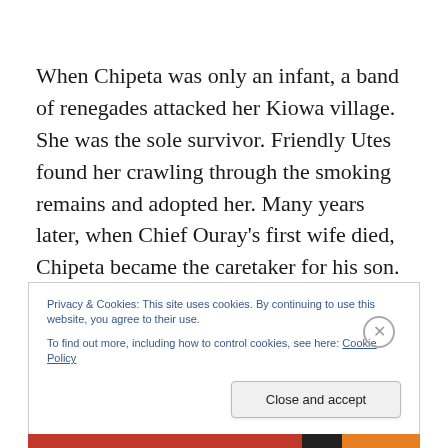When Chipeta was only an infant, a band of renegades attacked her Kiowa village. She was the sole survivor. Friendly Utes found her crawling through the smoking remains and adopted her. Many years later, when Chief Ouray’s first wife died, Chipeta became the caretaker for his son. Ouray was impressed with the girl’s keen mind, compassion, and poise. Eventually the two married and were inseparable from then on.
Privacy & Cookies: This site uses cookies. By continuing to use this website, you agree to their use.
To find out more, including how to control cookies, see here: Cookie Policy
Close and accept